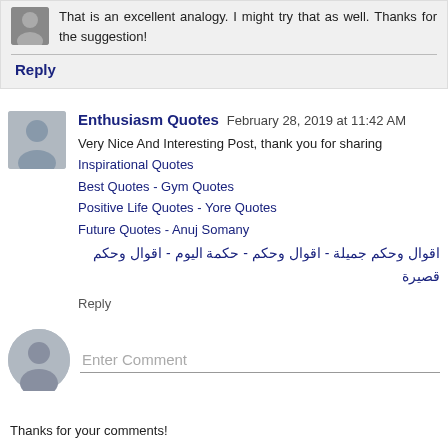That is an excellent analogy. I might try that as well. Thanks for the suggestion!
Reply
Enthusiasm Quotes  February 28, 2019 at 11:42 AM
Very Nice And Interesting Post, thank you for sharing
Inspirational Quotes
Best Quotes - Gym Quotes
Positive Life Quotes - Yore Quotes
Future Quotes - Anuj Somany
اقوال وحكم جميلة - اقوال وحكم - حكمة اليوم - اقوال وحكم قصيرة
Reply
Enter Comment
Thanks for your comments!